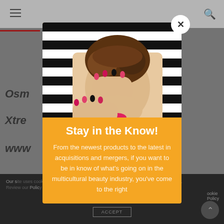[Figure (screenshot): Background webpage with hamburger menu icon, search icon, red underline, partial text items 'Osm', 'Xtre', 'www', dark footer with accept button, and scroll-to-top button]
[Figure (photo): Fashion photo of a woman with curly hair, dramatic makeup, and colorful nails posed against black and white stripes background, covering one eye with her hand]
Stay in the Know!
From the newest products to the latest in acquisitions and mergers, if you want to be in know of what's going on in the multicultural beauty industry, you've come to the right